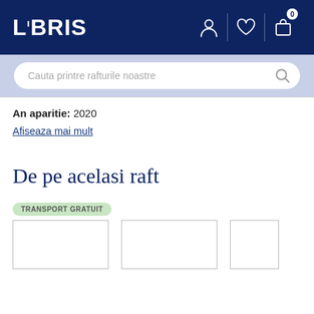LIBRIS
Cauta printre rafturile noastre
An aparitie: 2020
Afiseaza mai mult
De pe acelasi raft
TRANSPORT GRATUIT